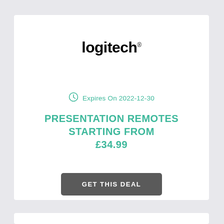[Figure (logo): Logitech logo in bold black text with registered trademark superscript]
Expires On 2022-12-30
PRESENTATION REMOTES STARTING FROM £34.99
GET THIS DEAL